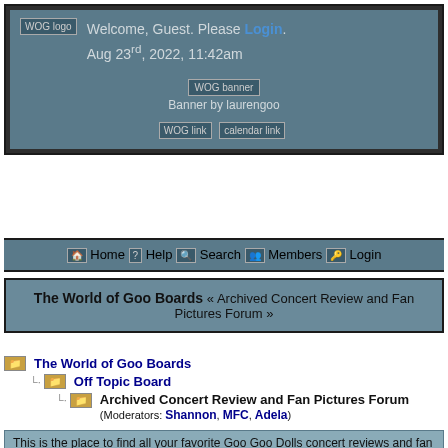Welcome, Guest. Please Login. Aug 23rd, 2022, 11:42am
[Figure (illustration): WOG banner image with caption 'Banner by laurengoo']
WOG link  calendar link
Home  Help  Search  Members  Login
The World of Goo Boards « Archived Concert Review and Fan Pictures Forum »
The World of Goo Boards
Off Topic Board
Archived Concert Review and Fan Pictures Forum (Moderators: Shannon, MFC, Adela)
This is the place to find all your favorite Goo Goo Dolls concert reviews and fan pictures.
Pages: 1 2 3 4 5 6   Start new topic